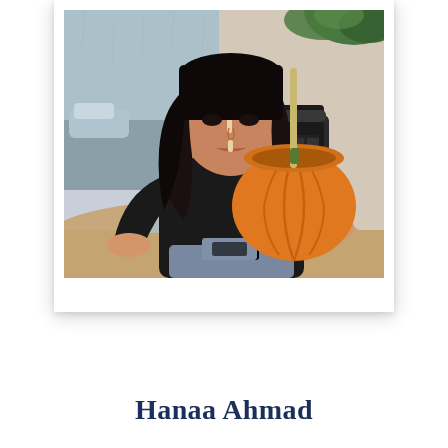[Figure (photo): A woman with long dark hair sitting at a cafe table, drinking through a straw from a hollowed-out orange pumpkin. She wears a black top. In the background is a vintage typewriter and a plant. The photo is displayed in a polaroid-style white frame.]
Hanaa Ahmad